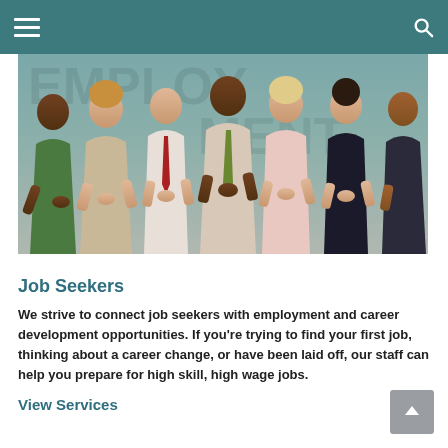Navigation bar with hamburger menu and search icon
[Figure (photo): Group of diverse business professionals clapping and smiling, standing together in a row]
Job Seekers
We strive to connect job seekers with employment and career development opportunities. If you're trying to find your first job, thinking about a career change, or have been laid off, our staff can help you prepare for high skill, high wage jobs.
View Services